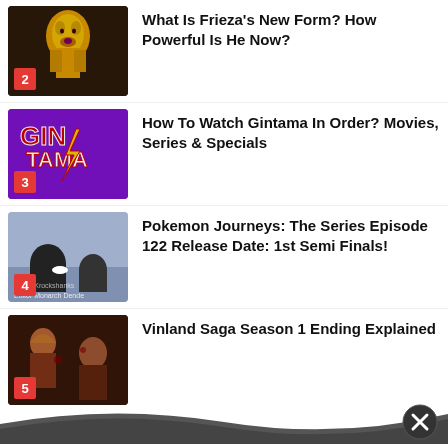What Is Frieza's New Form? How Powerful Is He Now?
How To Watch Gintama In Order? Movies, Series & Specials
Pokemon Journeys: The Series Episode 122 Release Date: 1st Semi Finals!
Vinland Saga Season 1 Ending Explained